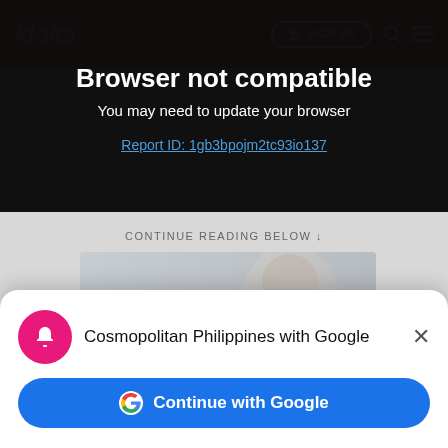[Figure (screenshot): Website header bar with red background, italic logo text 'kloka', white SIGN UP button with lock icon, search icon, and hamburger menu icon]
Browser not compatible
You may need to update your browser
Report ID: 1gb3bpojm2tc93io137
CONTINUE READING BELOW
[Figure (photo): Blurred photo of a woman in a light jacket, overlaid with a white rounded button reading 'Read on App']
Cosmopolitan Philippines with Google
[Figure (other): Continue with Google button with blue background, Google G logo, and white bold text 'Continue with Google']